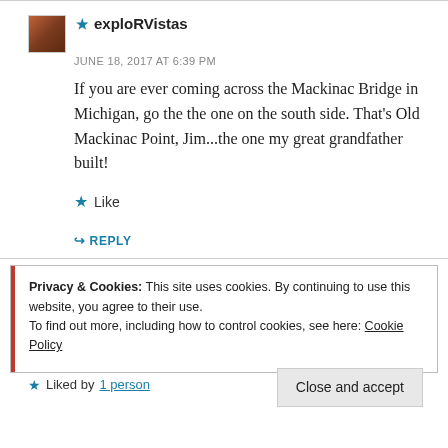★ exploRVistas
JUNE 18, 2017 AT 6:39 PM
If you are ever coming across the Mackinac Bridge in Michigan, go the the one on the south side. That's Old Mackinac Point, Jim...the one my great grandfather built!
Like
↳ REPLY
Privacy & Cookies: This site uses cookies. By continuing to use this website, you agree to their use.
To find out more, including how to control cookies, see here: Cookie Policy
Close and accept
Liked by 1 person